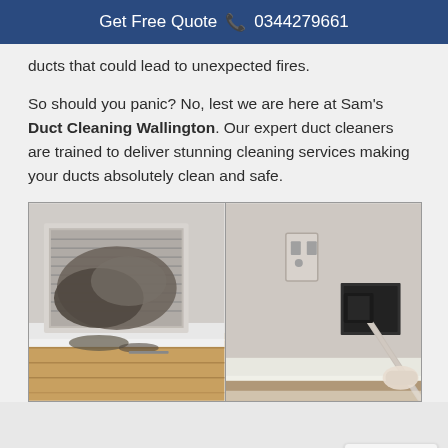Get Free Quote  📞 0344279661
ducts that could lead to unexpected fires.
So should you panic? No, lest we are here at Sam's Duct Cleaning Wallington. Our expert duct cleaners are trained to deliver stunning cleaning services making your ducts absolutely clean and safe.
[Figure (photo): Two side-by-side photos: left shows a dirty, heavily dust-clogged HVAC duct cover removed from a wall with debris on hardwood floor; right shows a gloved hand using a brush tool to clean a duct opening in a wall.]
Privacy · Terms